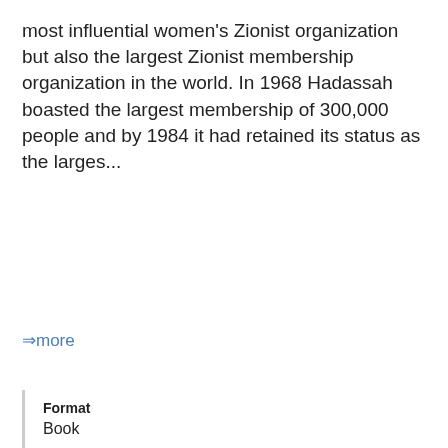most influential women's Zionist organization but also the largest Zionist membership organization in the world. In 1968 Hadassah boasted the largest membership of 300,000 people and by 1984 it had retained its status as the larges...
⇒more
Format
Book
Author/Creator
Brautbar, Shirli.
Published
2005
Locale
United States